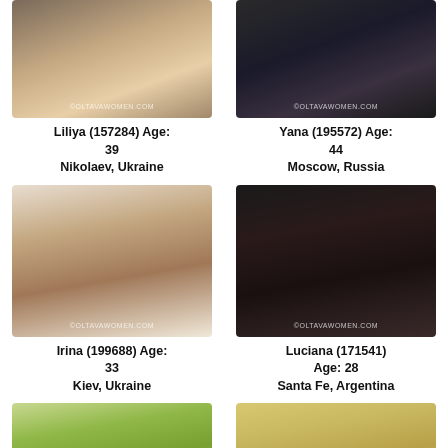[Figure (photo): Photo of Liliya, a woman, partially cropped at top]
[Figure (photo): Photo of Yana, a woman in dark clothing, partially cropped at top]
Liliya (157284) Age: 39
Nikolaev, Ukraine
Yana (195572) Age: 44
Moscow, Russia
[Figure (photo): Photo of Irina, a blonde woman]
[Figure (photo): Photo of Luciana, a dark-haired woman]
Irina (199688) Age: 33
Kiev, Ukraine
Luciana (171541) Age: 28
Santa Fe, Argentina
[Figure (photo): Photo of a blonde woman, partially shown at bottom]
[Figure (photo): Photo of a dark-haired woman, partially shown at bottom]